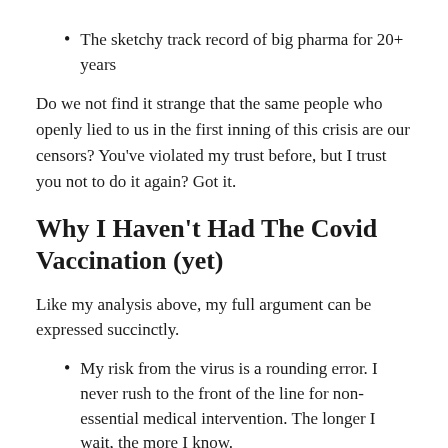The sketchy track record of big pharma for 20+ years
Do we not find it strange that the same people who openly lied to us in the first inning of this crisis are our censors? You’ve violated my trust before, but I trust you not to do it again? Got it.
Why I Haven’t Had The Covid Vaccination (yet)
Like my analysis above, my full argument can be expressed succinctly.
My risk from the virus is a rounding error. I never rush to the front of the line for non-essential medical intervention. The longer I wait, the more I know.